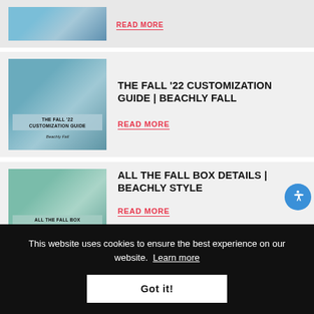[Figure (photo): Partial view of article thumbnail at top of page, partially cropped]
READ MORE
[Figure (photo): Fall '22 Customization Guide | Beachly Fall article thumbnail showing women outdoors with bags]
THE FALL '22 CUSTOMIZATION GUIDE | BEACHLY FALL
READ MORE
[Figure (photo): All The Fall Box Details | Beachly Style article thumbnail showing woman holding box]
ALL THE FALL BOX DETAILS | BEACHLY STYLE
READ MORE
This website uses cookies to ensure the best experience on our website. Learn more
Got it!
CATEGORIES